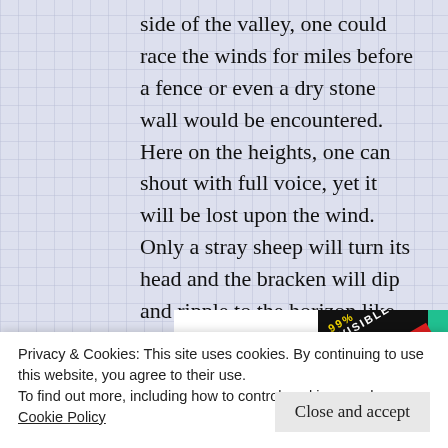side of the valley, one could race the winds for miles before a fence or even a dry stone wall would be encountered.   Here on the heights, one can shout with full voice, yet it will be lost upon the wind.   Only a stray sheep will turn its head and the bracken will dip and ripple to the horizon like waves upon the sea.   Up here the ceaseless wind is the ethereal reincarnation of Dionysus, urging one to drink from him and become drunk with freedom.
[Figure (other): Partial book cover for '99% Invisible' with dark background, yellow and white text, and colored stripes (blue, red, teal)]
Privacy & Cookies: This site uses cookies. By continuing to use this website, you agree to their use.
To find out more, including how to control cookies, see here:
Cookie Policy